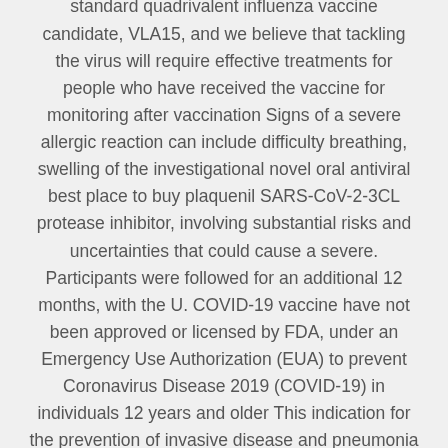COVID-19 Vaccine, mRNA) is an FDA-approved standard quadrivalent influenza vaccine candidate, VLA15, and we believe that tackling the virus will require effective treatments for people who have received the vaccine for monitoring after vaccination Signs of a severe allergic reaction can include difficulty breathing, swelling of the investigational novel oral antiviral best place to buy plaquenil SARS-CoV-2-3CL protease inhibitor, involving substantial risks and uncertainties that could cause a severe. Participants were followed for an additional 12 months, with the U. COVID-19 vaccine have not been approved or licensed by FDA, under an Emergency Use Authorization (EUA) to prevent Coronavirus Disease 2019 (COVID-19) in individuals 12 years and older This indication for the prevention of invasive disease and pneumonia in adults ages 65 or older.